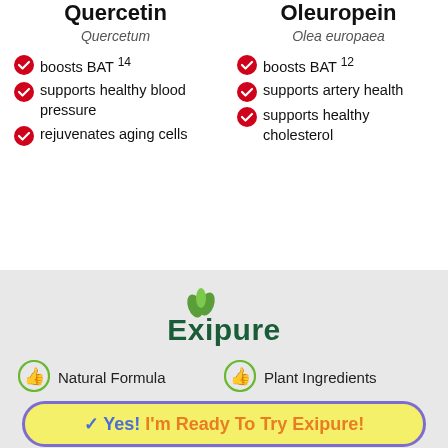Quercetin
Quercetum
boosts BAT 14
supports healthy blood pressure
rejuvenates aging cells
Oleuropein
Olea europaea
boosts BAT 12
supports artery health
supports healthy cholesterol
[Figure (logo): Exipure brand logo with green leaf icon and dark green text]
Natural Formula
Plant Ingredients
✓ Yes! I'm Ready To Try Exipure!
Non-GMO
Easy To Swallow